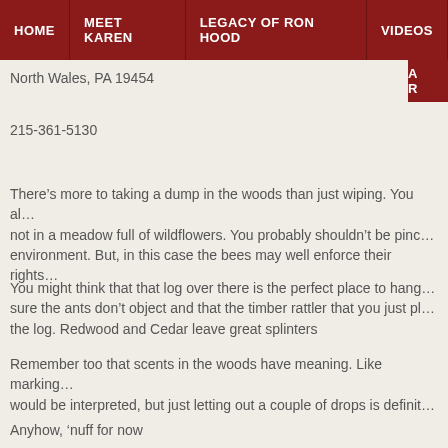HOME | MEET KAREN | LEGACY OF RON HOOD | VIDEOS | A...
North Wales, PA 19454
215-361-5130
There’s more to taking a dump in the woods than just wiping. You al... not in a meadow full of wildflowers. You probably shouldn’t be pinc... environment. But, in this case the bees may well enforce their rights...
You might think that that log over there is the perfect place to hang... sure the ants don’t object and that the timber rattler that you just pl... the log. Redwood and Cedar leave great splinters
Remember too that scents in the woods have meaning. Like marking... would be interpreted, but just letting out a couple of drops is definit...
Anyhow, ‘nuff for now